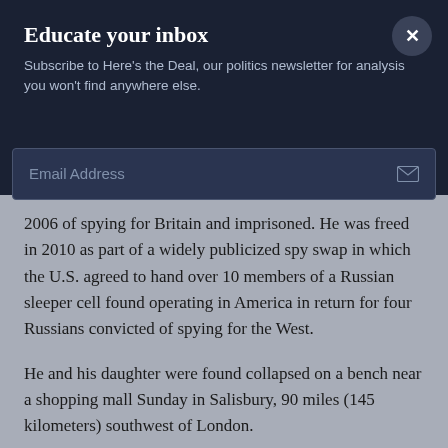Educate your inbox
Subscribe to Here's the Deal, our politics newsletter for analysis you won't find anywhere else.
Email Address
2006 of spying for Britain and imprisoned. He was freed in 2010 as part of a widely publicized spy swap in which the U.S. agreed to hand over 10 members of a Russian sleeper cell found operating in America in return for four Russians convicted of spying for the West.
He and his daughter were found collapsed on a bench near a shopping mall Sunday in Salisbury, 90 miles (145 kilometers) southwest of London.